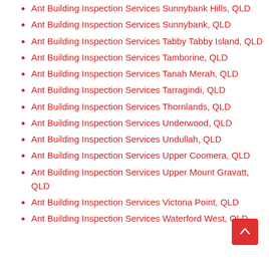Ant Building Inspection Services Sunnybank Hills, QLD
Ant Building Inspection Services Sunnybank, QLD
Ant Building Inspection Services Tabby Tabby Island, QLD
Ant Building Inspection Services Tamborine, QLD
Ant Building Inspection Services Tanah Merah, QLD
Ant Building Inspection Services Tarragindi, QLD
Ant Building Inspection Services Thornlands, QLD
Ant Building Inspection Services Underwood, QLD
Ant Building Inspection Services Undullah, QLD
Ant Building Inspection Services Upper Coomera, QLD
Ant Building Inspection Services Upper Mount Gravatt, QLD
Ant Building Inspection Services Victoria Point, QLD
Ant Building Inspection Services Waterford West, QLD